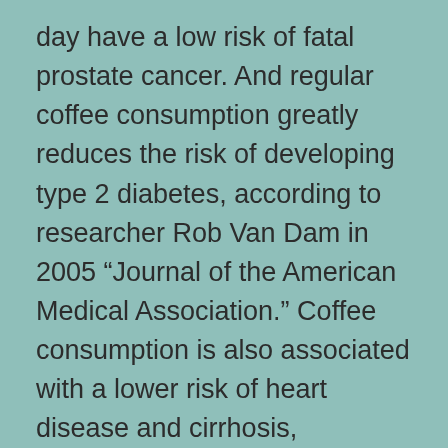day have a low risk of fatal prostate cancer. And regular coffee consumption greatly reduces the risk of developing type 2 diabetes, according to researcher Rob Van Dam in 2005 “Journal of the American Medical Association.” Coffee consumption is also associated with a lower risk of heart disease and cirrhosis, according to a 2006 article published in The New York Times. No special studies have been made of espresso, but beans contain more healthful ingredients that are lost when they turn into coffee.
Chocolate covered espresso pills may improve